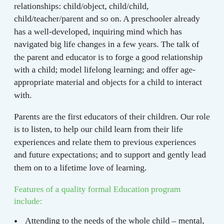relationships: child/object, child/child, child/teacher/parent and so on. A preschooler already has a well-developed, inquiring mind which has navigated big life changes in a few years. The talk of the parent and educator is to forge a good relationship with a child; model lifelong learning; and offer age-appropriate material and objects for a child to interact with.
Parents are the first educators of their children. Our role is to listen, to help our child learn from their life experiences and relate them to previous experiences and future expectations; and to support and gently lead them on to a lifetime love of learning.
Features of a quality formal Education program include:
Attending to the needs of the whole child – mental, physical and intellectual.
Setting the groundwork that will help to a child...